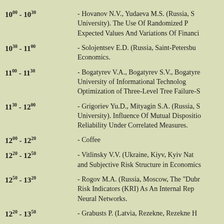10^00 - 10^30 - Hovanov N.V., Yudaeva M.S. (Russia, S... University). The Use Of Randomized Pr... Expected Values And Variations Of Financi...
10^30 - 11^00 - Solojentsev E.D. (Russia, Saint-Petersbu... Economics.
11^00 - 11^30 - Bogatyrev V.A., Bogatyrev S.V., Bogatyre... University of Informational Technolog... Optimization of Three-Level Tree Failure-S...
11^30 - 12^00 - Grigoriev Yu.D., Mityagin S.A. (Russia, S... University). Influence Of Mutual Dispositio... Reliability Under Correlated Measures.
12^00 - 12^20 - Coffee
12^20 - 12^50 - Vitlinsky V.V. (Ukraine, Kiyv, Kyiv Nat... and Subjective Risk Structure in Economics...
12^50 - 13^20 - Rogov M.A. (Russia, Moscow, The "Dubr... Risk Indicators (KRI) As An Internal Repr... Neural Networks.
12^20 - 13^50 - Grabusts P. (Latvia, Rezekne, Rezekne H...